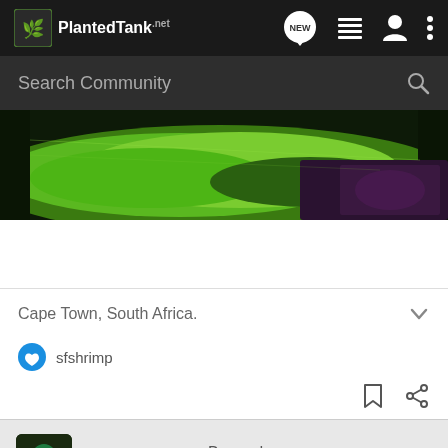PlantedTank
Search Community
[Figure (photo): Planted aquarium tank photo showing bright green aquatic plants and purple/dark equipment lighting]
Cape Town, South Africa.
sfshrimp
proper.noun · Banned
Joined May 29, 2016 · 90 Posts
#14  Jun 18, 2016 (Edited)